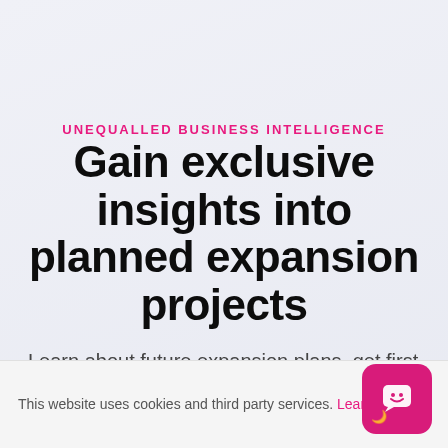UNEQUALLED BUSINESS INTELLIGENCE
Gain exclusive insights into planned expansion projects
Learn about future expansion plans, get first
This website uses cookies and third party services. Learn more ˅